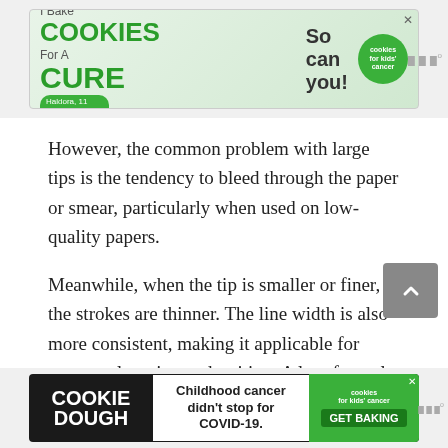[Figure (other): Advertisement banner: 'I Bake COOKIES For A CURE - Haldora, 11 Cancer Survivor - So can you! - cookies for kids cancer']
However, the common problem with large tips is the tendency to bleed through the paper or smear, particularly when used on low-quality papers.
Meanwhile, when the tip is smaller or finer, the strokes are thinner. The line width is also more consistent, making it applicable for compact lettering and writing. A lot of people opt for this size because it resembles the feel and function of a regular pen or a ballpoint pen.
Unlike larger tips, smaller tips are less likely to bleed through the paper. The ink also doesn’t tend to overflow, thereby making them more forgiving with the quality or
[Figure (other): Advertisement banner: 'COOKIE DOUGH - Childhood cancer didn’t stop for COVID-19. - cookies for kids cancer - GET BAKING']